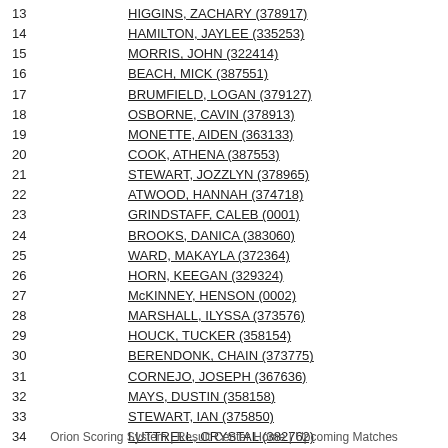13  HIGGINS, ZACHARY (378917)
14  HAMILTON, JAYLEE (335253)
15  MORRIS, JOHN (322414)
16  BEACH, MICK (387551)
17  BRUMFIELD, LOGAN (379127)
18  OSBORNE, CAVIN (378913)
19  MONETTE, AIDEN (363133)
20  COOK, ATHENA (387553)
21  STEWART, JOZZLYN (378965)
22  ATWOOD, HANNAH (374718)
23  GRINDSTAFF, CALEB (0001)
24  BROOKS, DANICA (383060)
25  WARD, MAKAYLA (372364)
26  HORN, KEEGAN (329324)
27  McKINNEY, HENSON (0002)
28  MARSHALL, ILYSSA (373576)
29  HOUCK, TUCKER (358154)
30  BERENDONK, CHAIN (373775)
31  CORNEJO, JOSEPH (367636)
32  MAYS, DUSTIN (358158)
33  STEWART, IAN (375850)
34  LUTTRELL, CRYSTAL (382762)
35  ADKINS, ROBERT (388212)
36  WILLIAMS, CIERRA (0003)
Orion Scoring System | Result Center Home | Upcoming Matches